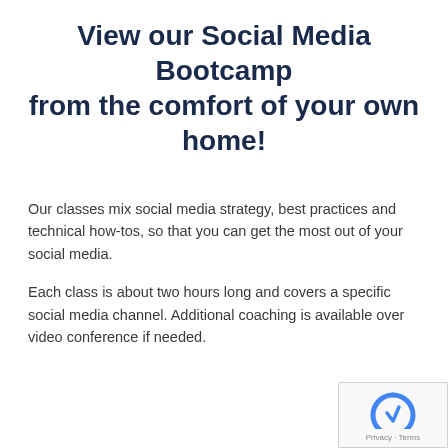View our Social Media Bootcamp from the comfort of your own home!
Our classes mix social media strategy, best practices and technical how-tos, so that you can get the most out of your social media.
Each class is about two hours long and covers a specific social media channel. Additional coaching is available over video conference if needed.